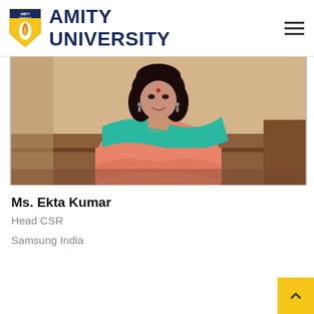AMITY UNIVERSITY
[Figure (photo): Portrait photo of Ms. Ekta Kumar, a woman wearing a pink and teal saree, smiling, with dark curly hair and a red bindi.]
Ms. Ekta Kumar
Head CSR
Samsung India